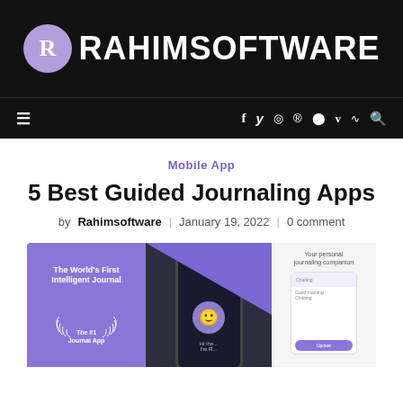RAHIMSOFTWARE
Mobile App
5 Best Guided Journaling Apps
by Rahimsoftware | January 19, 2022 | 0 comment
[Figure (screenshot): Screenshot showing three journaling app interfaces: a purple card reading 'The World's First Intelligent Journal' with 'The #1 Journal App' badge, a dark phone showing a chat interface with emoji, and a white phone showing 'Your personal journaling companion' with a chat UI.]